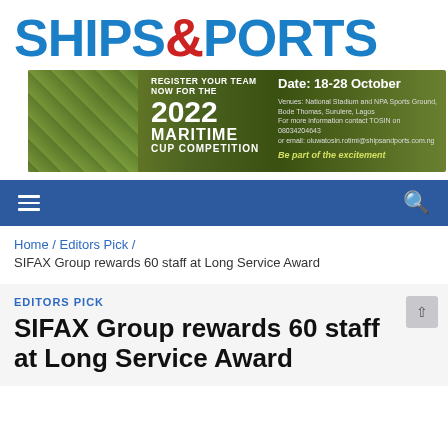[Figure (logo): Ships & Ports logo — blue bold text 'SHIPS' and 'PORTS' with red ampersand '&']
[Figure (infographic): Banner advertisement for 2022 Maritime Cup Competition. Register your team now for the 2022 Maritime Cup Competition. Date: 18-28 October. Venues: National Stadium and NPA Sports Ground, Bode Thomas, Surulere, Lagos. For more information contact TOSIN on 08034204643 or email: oluwatosin.rotimi@shipsandports.com.ng. Be part of the excitement.]
[Figure (other): Navigation bar with hamburger menu icon on left and search icon on right, blue background]
Home / Editors Pick / SIFAX Group rewards 60 staff at Long Service Award
EDITORS PICK
SIFAX Group rewards 60 staff at Long Service Award